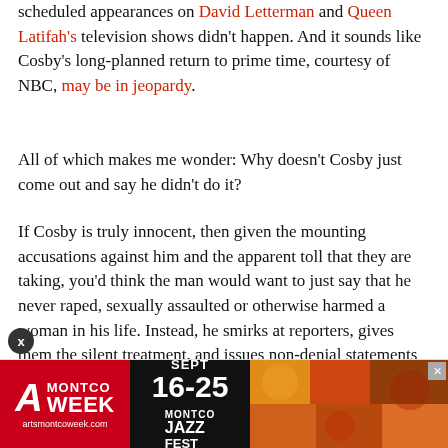scheduled appearances on David Letterman and Queen Latifah's television shows didn't happen. And it sounds like Cosby's long-planned return to prime time, courtesy of NBC, may be in jeopardy.
All of which makes me wonder: Why doesn't Cosby just come out and say he didn't do it?
If Cosby is truly innocent, then given the mounting accusations against him and the apparent toll that they are taking, you'd think the man would want to just say that he never raped, sexually assaulted or otherwise harmed a woman in his life. Instead, he smirks at reporters, gives them the silent treatment, and issues non-denial statements via his Manhattan attorney.
On the other hand, if Cosby is guilty — and this a good time to remind you that he's never been charged with
[Figure (other): Advertisement banner for Montco Week Sept 16-25 and Montco Jazz Fest at artsmontcoweek.com]